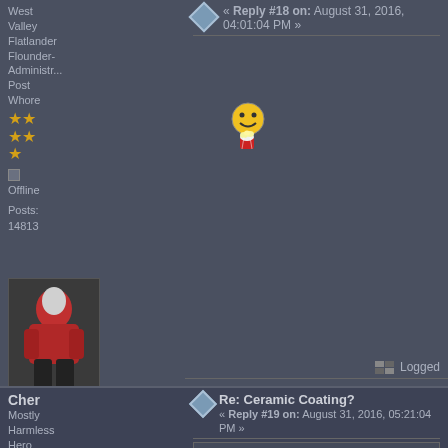West Valley Flatlander Flounder-Administrator Post Whore
[Figure (illustration): Animated emoji/smiley with popcorn]
Offline
Posts: 14813
[Figure (photo): User avatar showing motorcyclist in red gear]
RIP Nicky
Logged
- - - - - Valley Desmo Service - - - -
Reseda, CA
(951) 640-8908
~~~ "We've rearranged the deck chairs, refilled
Cher
Mostly Harmless Hero Member
Re: Ceramic Coating?
« Reply #19 on: August 31, 2016, 05:21:04 PM »
Quote from: muskrat on August 31, 2016, 03:33:19 PM